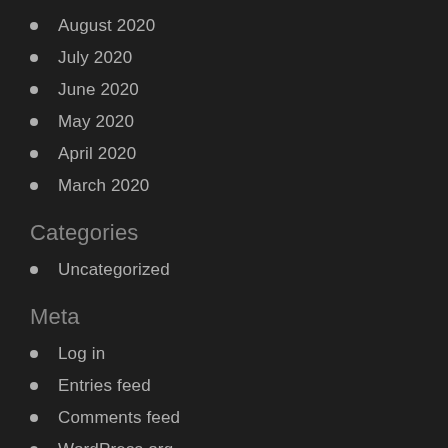August 2020
July 2020
June 2020
May 2020
April 2020
March 2020
Categories
Uncategorized
Meta
Log in
Entries feed
Comments feed
WordPress.org